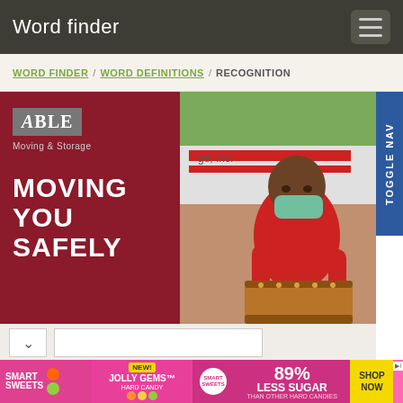Word finder
WORD FINDER / WORD DEFINITIONS / RECOGNITION
[Figure (photo): Advertisement image for Able Moving & Storage showing a worker in a red shirt and blue surgical mask carrying a wooden drum/chest in front of a moving truck. Left half is a dark red panel with the Able Moving & Storage logo and large white text reading 'MOVING YOU SAFELY'.]
[Figure (advertisement): Smart Sweets advertisement banner showing colorful candy with text: SMART SWEETS, NEW! JOLLY GEMS HARD CANDY, 89% LESS SUGAR THAN OTHER HARD CANDIES, SHOP NOW]